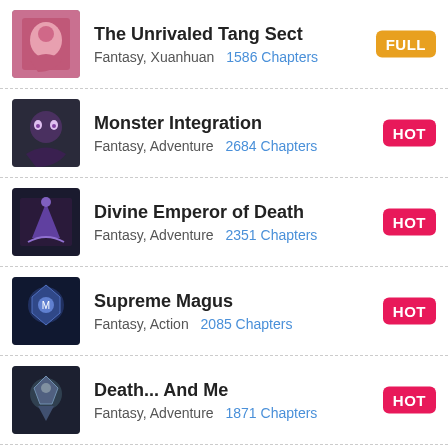The Unrivaled Tang Sect | Fantasy, Xuanhuan | 1586 Chapters | FULL
Monster Integration | Fantasy, Adventure | 2684 Chapters | HOT
Divine Emperor of Death | Fantasy, Adventure | 2351 Chapters | HOT
Supreme Magus | Fantasy, Action | 2085 Chapters | HOT
Death... And Me | Fantasy, Adventure | 1871 Chapters | HOT
The Legend of Futian | Fantasy, Martial Arts | 2951 Chapters
The Beginning After The End | Fantasy, Martial | 399 Chapters | HOT